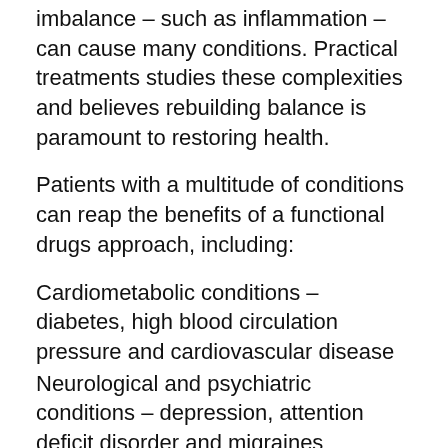imbalance – such as inflammation – can cause many conditions. Practical treatments studies these complexities and believes rebuilding balance is paramount to restoring health.
Patients with a multitude of conditions can reap the benefits of a functional drugs approach, including:
Cardiometabolic conditions – diabetes, high blood circulation pressure and cardiovascular disease
Neurological and psychiatric conditions – depression, attention deficit disorder and migraines
Digestion disorders – irritable bowel symptoms, ulcers, chronic pancreatitis, acid reflux disorder and diverticulosis